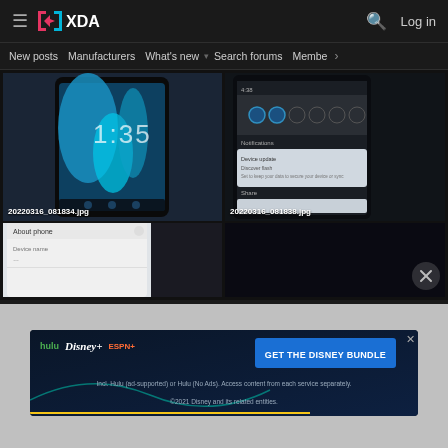[Figure (screenshot): XDA Developers website header with hamburger menu, XDA logo, search icon, and Log in button on dark background]
[Figure (screenshot): XDA Developers navigation bar with links: New posts, Manufacturers, What's new (with dropdown), Search forums, Membe... and a > arrow]
[Figure (photo): Phone photo showing Android home screen with blue wallpaper and time 1:35, labeled 20220316_081834.jpg]
[Figure (photo): Phone photo showing Android notification shade with quick settings icons and notification about device flash, labeled 20220316_081838.jpg]
[Figure (photo): Partial phone photo showing About phone settings screen]
[Figure (screenshot): Disney Bundle advertisement banner: hulu, Disney+, ESPN+, GET THE DISNEY BUNDLE, Incl. Hulu (ad-supported) or Hulu (No Ads). Access content from each service separately. ©2021 Disney and its related entities.]